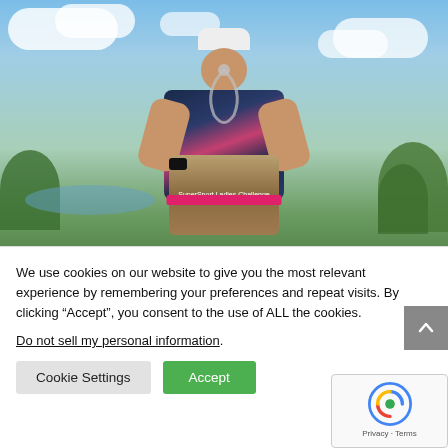[Figure (photo): Woman golfer smiling and holding a SuperSport Ladies Challenge trophy, standing on golf course with trees and cloudy sky in background]
Mear Play-Off Delight fer...
We use cookies on our website to give you the most relevant experience by remembering your preferences and repeat visits. By clicking “Accept”, you consent to the use of ALL the cookies.
Do not sell my personal information.
Cookie Settings
Accept